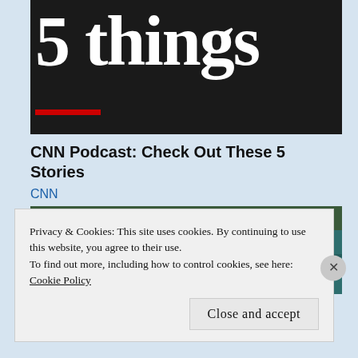[Figure (photo): Dark background with large white serif text reading '5 things' and a red underline bar]
CNN Podcast: Check Out These 5 Stories
CNN
[Figure (photo): Photo of a man wearing sunglasses sitting in stadium seating, with other people visible in background]
Privacy & Cookies: This site uses cookies. By continuing to use this website, you agree to their use.
To find out more, including how to control cookies, see here:
Cookie Policy
Close and accept